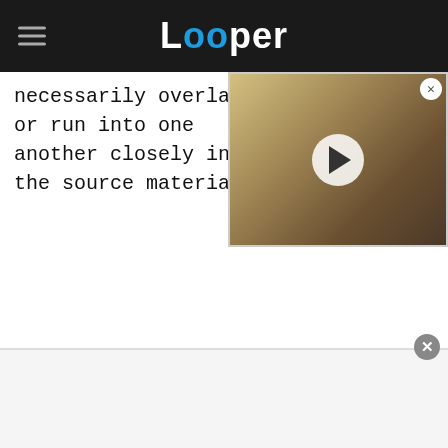Looper
necessarily overlap or run into one another closely in the source material.
[Figure (screenshot): Video player overlay showing a helmeted warrior figure (Witch-king style) with a play button, on a sepia-toned background. Close button in top right corner.]
[Figure (screenshot): Advertisement banner area at the bottom of the page with a close button.]